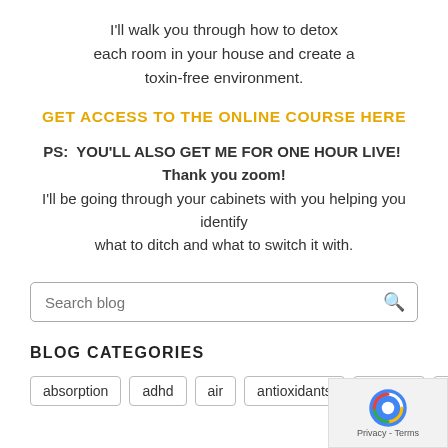I'll walk you through how to detox each room in your house and create a toxin-free environment.
GET ACCESS TO THE ONLINE COURSE HERE
PS:  YOU'LL ALSO GET ME FOR ONE HOUR LIVE!  Thank you zoom!
I'll be going through your cabinets with you helping you identify
what to ditch and what to switch it with.
Search blog
BLOG CATEGORIES
absorption
adhd
air
antioxidants
arthritis
beauty